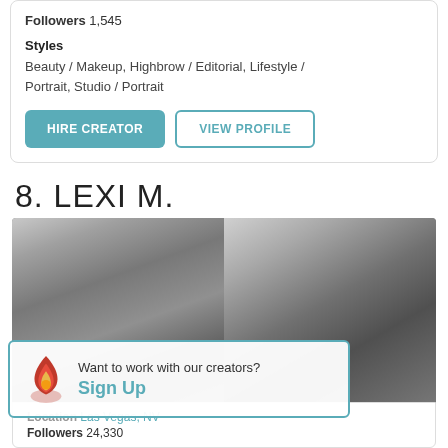Followers 1,545
Styles
Beauty / Makeup, Highbrow / Editorial, Lifestyle / Portrait, Studio / Portrait
HIRE CREATOR
VIEW PROFILE
8. LEXI M.
[Figure (photo): Black and white fashion photography showing two women — left: close-up face portrait with earrings, right: woman with bare shoulders in dark outfit facing away]
Want to work with our creators? Sign Up
Location Las Vegas, NV
Followers 24,330